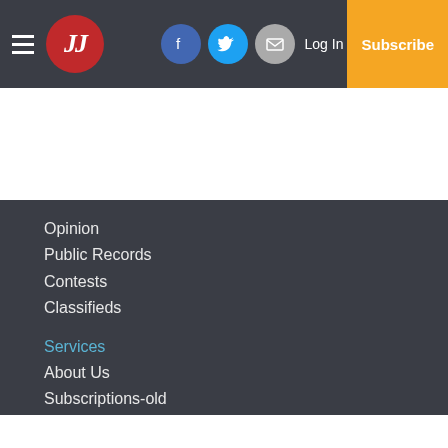JJ — Log In | Subscribe (navigation bar with social icons)
Opinion
Public Records
Contests
Classifieds
Services
About Us
Subscriptions-old
Policies
Submit a News Tip
Submit a Photo
Submit a Sports Story
Letters to Editor
Copyright